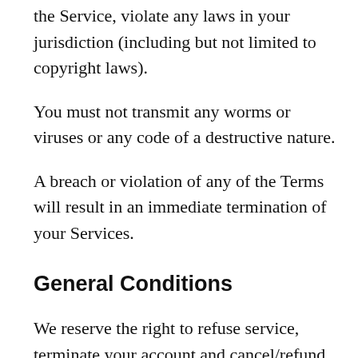the Service, violate any laws in your jurisdiction (including but not limited to copyright laws).
You must not transmit any worms or viruses or any code of a destructive nature.
A breach or violation of any of the Terms will result in an immediate termination of your Services.
General Conditions
We reserve the right to refuse service, terminate your account and cancel/refund your